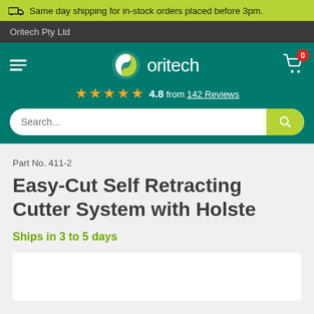Same day shipping for in-stock orders placed before 3pm.
Oritech Pty Ltd
[Figure (logo): Oritech logo with green swirl icon and white text 'oritech', shopping cart icon with badge '0', hamburger menu, and star rating row showing 4.8 from 142 Reviews]
Part No. 411-2
Easy-Cut Self Retracting Cutter System with Holste
Ships in 3 to 5 days
[Figure (photo): Product image area (white box, partially visible)]